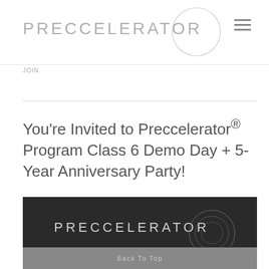PRECCELERATOR
JOIN
You’re Invited to Preccelerator® Program Class 6 Demo Day + 5-Year Anniversary Party!
[Figure (logo): Preccelerator logo on dark background banner with circular design element]
Back To Top